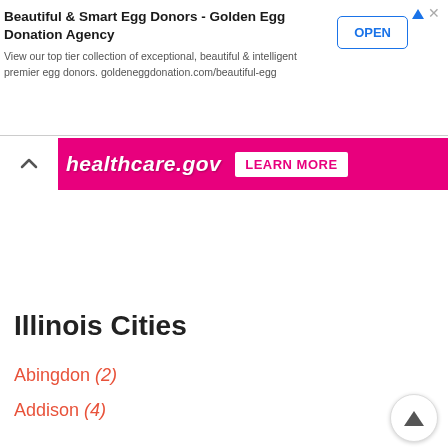[Figure (screenshot): Advertisement banner for Beautiful & Smart Egg Donors - Golden Egg Donation Agency with OPEN button]
[Figure (screenshot): Pink healthcare.gov banner with LEARN MORE button and chevron/collapse control]
Illinois Cities
Abingdon (2)
Addison (4)
Aledo (1)
Allendale (1)